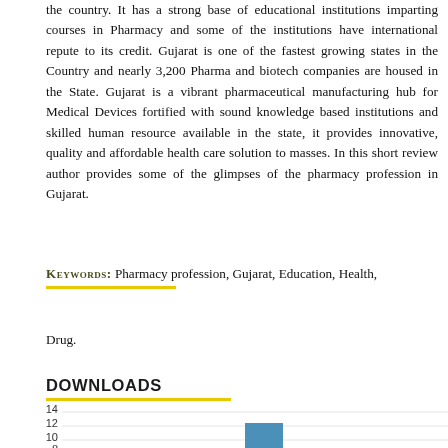the country. It has a strong base of educational institutions imparting courses in Pharmacy and some of the institutions have international repute to its credit. Gujarat is one of the fastest growing states in the Country and nearly 3,200 Pharma and biotech companies are housed in the State. Gujarat is a vibrant pharmaceutical manufacturing hub for Medical Devices fortified with sound knowledge based institutions and skilled human resource available in the state, it provides innovative, quality and affordable health care solution to masses. In this short review author provides some of the glimpses of the pharmacy profession in Gujarat.
KEYWORDS: Pharmacy profession, Gujarat, Education, Health, Drug.
DOWNLOADS
[Figure (bar-chart): Downloads]